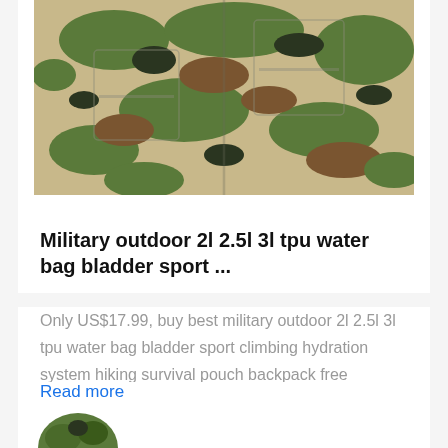[Figure (photo): Camouflage military jacket/bag with multiple pockets, cropped top view showing green/brown woodland camo pattern]
Military outdoor 2l 2.5l 3l tpu water bag bladder sport ...
Only US$17.99, buy best military outdoor 2l 2.5l 3l tpu water bag bladder sport climbing hydration system hiking survival pouch backpack free shipping sale online store at wholesale price.
Read more
[Figure (photo): Partial view of another product image at the bottom, showing green camouflage item]